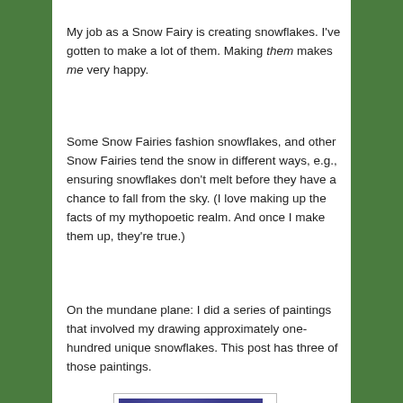My job as a Snow Fairy is creating snowflakes. I've gotten to make a lot of them. Making them makes me very happy.
Some Snow Fairies fashion snowflakes, and other Snow Fairies tend the snow in different ways, e.g., ensuring snowflakes don't melt before they have a chance to fall from the sky. (I love making up the facts of my mythopoetic realm. And once I make them up, they're true.)
On the mundane plane: I did a series of paintings that involved my drawing approximately one-hundred unique snowflakes. This post has three of those paintings.
[Figure (illustration): A square painting with a blue-purple background showing a spiral pattern made of small white/silver snowflakes or sparkles, creating a swirling galaxy-like effect.]
A single snowfall uses up a lot of snowflakes. However, as